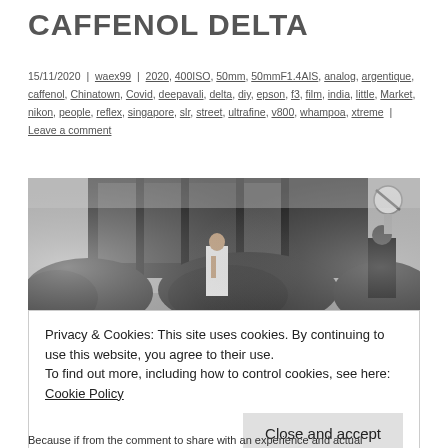CAFFENOL DELTA
15/11/2020 | waex99 | 2020, 400ISO, 50mm, 50mmF1.4AIS, analog, argentique, caffenol, Chinatown, Covid, deepavali, delta, diy, epson, f3, film, india, little, Market, nikon, people, reflex, singapore, slr, street, ultrafine, v800, whampoa, xtreme | Leave a comment
[Figure (photo): Black and white film photograph of a street scene, showing a woman in white dress walking on a sidewalk with bushes and trees, a person in dark clothing on the right, and a no-parking sign visible in the upper right corner.]
Privacy & Cookies: This site uses cookies. By continuing to use this website, you agree to their use.
To find out more, including how to control cookies, see here: Cookie Policy
Close and accept
Because if from the comment to share with an experience and actual